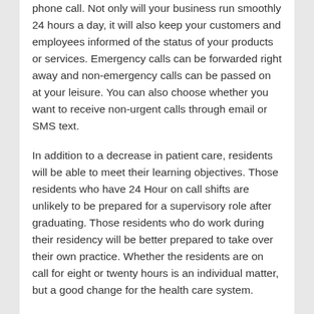phone call. Not only will your business run smoothly 24 hours a day, it will also keep your customers and employees informed of the status of your products or services. Emergency calls can be forwarded right away and non-emergency calls can be passed on at your leisure. You can also choose whether you want to receive non-urgent calls through email or SMS text.
In addition to a decrease in patient care, residents will be able to meet their learning objectives. Those residents who have 24 Hour on call shifts are unlikely to be prepared for a supervisory role after graduating. Those residents who do work during their residency will be better prepared to take over their own practice. Whether the residents are on call for eight or twenty hours is an individual matter, but a good change for the health care system.
A 24 Hour on call answering service is a great way to enhance customer service and build brand loyalty. It also gives you more flexibility to concentrate on the other aspects of your business, such as sales. When the